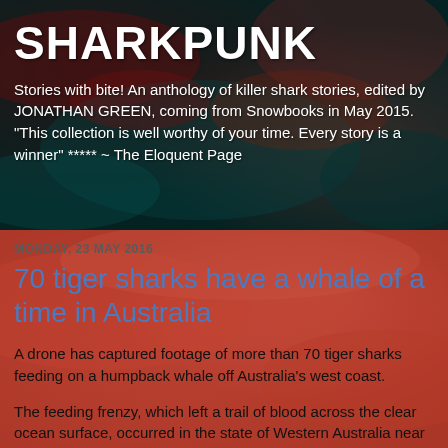[Figure (photo): Dark underwater/ocean surface texture background with deep teal and red/crimson tones, suggesting underwater or ocean imagery]
SHARKPUNK
Stories with bite! An anthology of killer shark stories, edited by JONATHAN GREEN, coming from Snowbooks in May 2015. "This collection is well worthy of your time. Every story is a winner" ***** ~ The Eloquent Page
[Figure (photo): Reddish ocean surface texture background with coral-red and dark tones]
MONDAY, 23 MAY 2016
70 tiger sharks have a whale of a time in Australia
A drone has captured footage of more than 70 tiger sharks feeding on a humpback whale off Australia's west coast.
The feeding frenzy, which left a trail of blood across the clear ocean surface, occurred in the state of Western Australia near Shark Bay, known for its large population of tiger sharks.